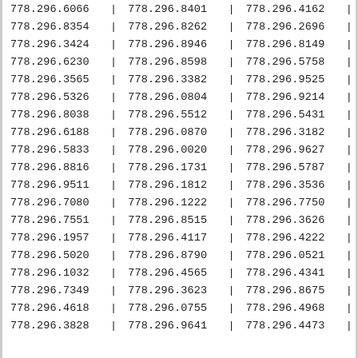| 778.296.6066 | | | 778.296.8401 | | | 778.296.4162 | | |
| 778.296.8354 | | | 778.296.8262 | | | 778.296.2696 | | |
| 778.296.3424 | | | 778.296.8946 | | | 778.296.8149 | | |
| 778.296.6230 | | | 778.296.8598 | | | 778.296.5758 | | |
| 778.296.3565 | | | 778.296.3382 | | | 778.296.9525 | | |
| 778.296.5326 | | | 778.296.0804 | | | 778.296.9214 | | |
| 778.296.8038 | | | 778.296.5512 | | | 778.296.5431 | | |
| 778.296.6188 | | | 778.296.0870 | | | 778.296.3182 | | |
| 778.296.5833 | | | 778.296.0020 | | | 778.296.9627 | | |
| 778.296.8816 | | | 778.296.1731 | | | 778.296.5787 | | |
| 778.296.9511 | | | 778.296.1812 | | | 778.296.3536 | | |
| 778.296.7080 | | | 778.296.1222 | | | 778.296.7750 | | |
| 778.296.7551 | | | 778.296.8515 | | | 778.296.3626 | | |
| 778.296.1957 | | | 778.296.4117 | | | 778.296.4222 | | |
| 778.296.5020 | | | 778.296.8790 | | | 778.296.0521 | | |
| 778.296.1032 | | | 778.296.4565 | | | 778.296.4341 | | |
| 778.296.7349 | | | 778.296.3623 | | | 778.296.8675 | | |
| 778.296.4618 | | | 778.296.0755 | | | 778.296.4968 | | |
| 778.296.3828 | | | 778.296.9641 | | | 778.296.4473 | | |